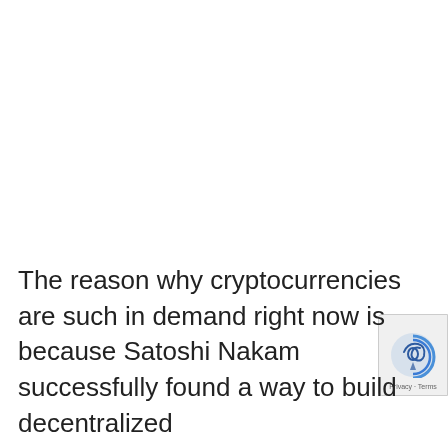The reason why cryptocurrencies are such in demand right now is because Satoshi Nakam successfully found a way to build decentralized